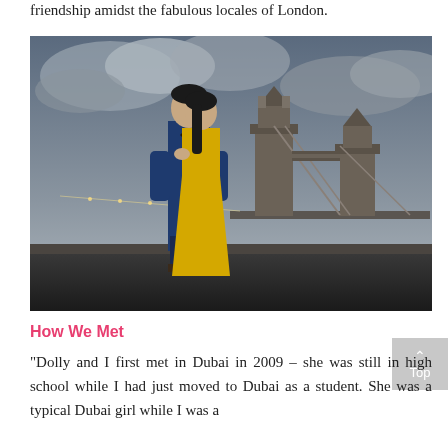friendship amidst the fabulous locales of London.
[Figure (photo): Couple posing in front of Tower Bridge, London. Man in navy suit, woman in yellow gown, embracing romantically under a dramatic cloudy sky.]
How We Met
"Dolly and I first met in Dubai in 2009 – she was still in high school while I had just moved to Dubai as a student. She was a typical Dubai girl while I was a